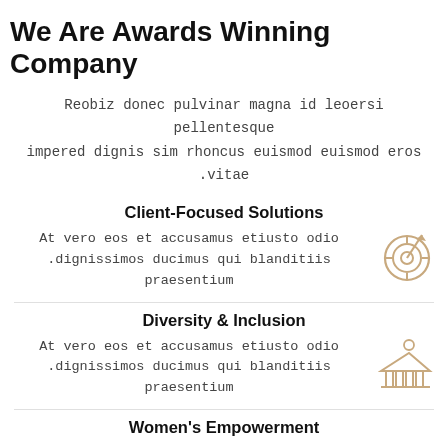We Are Awards Winning Company
Reobiz donec pulvinar magna id leoersi pellentesque impered dignis sim rhoncus euismod euismod eros .vitae
Client-Focused Solutions
At vero eos et accusamus etiusto odio .dignissimos ducimus qui blanditiis praesentium
[Figure (illustration): Target/bullseye with arrow icon in tan/gold outline style]
Diversity & Inclusion
At vero eos et accusamus etiusto odio .dignissimos ducimus qui blanditiis praesentium
[Figure (illustration): Building/institution with columns and person icon in tan/gold outline style]
Women's Empowerment